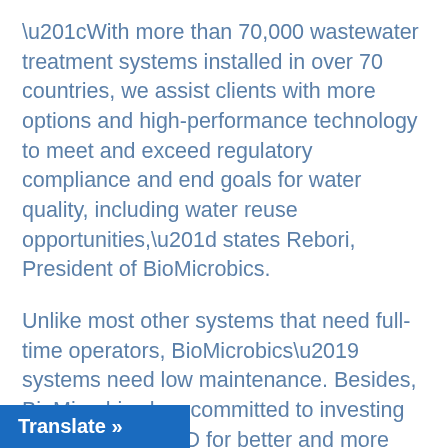“With more than 70,000 wastewater treatment systems installed in over 70 countries, we assist clients with more options and high-performance technology to meet and exceed regulatory compliance and end goals for water quality, including water reuse opportunities,” states Rebori, President of BioMicrobics.
Unlike most other systems that need full-time operators, BioMicrobics’ systems need low maintenance. Besides, BioMicrobics has committed to investing in continuous R&D for better and more refined products. “97 percent of our product development money is utilized in developing widgets to meet the price points of global markets and help clients with affordable prices,” says Rebori.